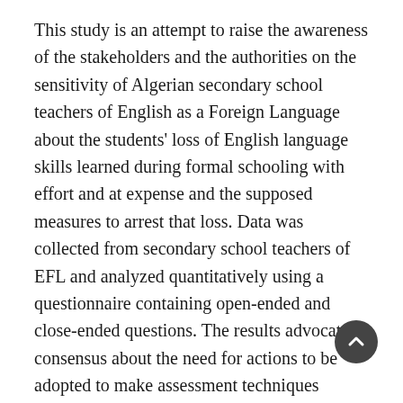This study is an attempt to raise the awareness of the stakeholders and the authorities on the sensitivity of Algerian secondary school teachers of English as a Foreign Language about the students' loss of English language skills learned during formal schooling with effort and at expense and the supposed measures to arrest that loss. Data was collected from secondary school teachers of EFL and analyzed quantitatively using a questionnaire containing open-ended and close-ended questions. The results advocate a consensus about the need for actions to be adopted to make assessment techniques outcome-oriented. Most of the participants were in favor of including curricular activities involving contextualized learning, problem-solving learning critical self-awareness, self and peer-assisted learning, use of computers and internet so as to make learners autonomous.